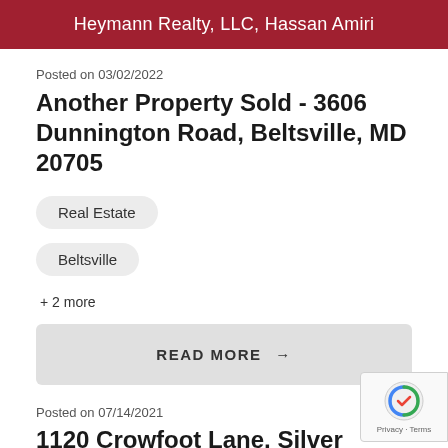Heymann Realty, LLC, Hassan Amiri
Posted on 03/02/2022
Another Property Sold - 3606 Dunnington Road, Beltsville, MD 20705
Real Estate
Beltsville
+ 2 more
READ MORE →
Posted on 07/14/2021
1120 Crowfoot Lane, Silver Spring, MD